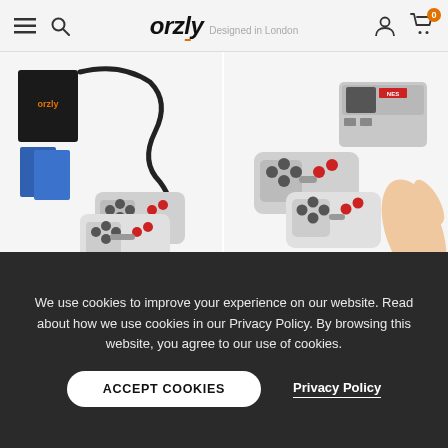orzly Designed in London
[Figure (photo): Orzly NES Classic Edition accessories bundle including two controllers, a charging cable, game cases, and packaging on white background]
[Figure (photo): NES Classic Edition mini console with two NES controllers held in a hand on white background]
Orzly Ultimate Pack for NES Classic Edition
€71,95  €23,95
NES Classic Edition Travel Bag
€20,95  €15,95
We use cookies to improve your experience on our website. Read about how we use cookies in our Privacy Policy. By browsing this website, you agree to our use of cookies.
ACCEPT COOKIES
Privacy Policy